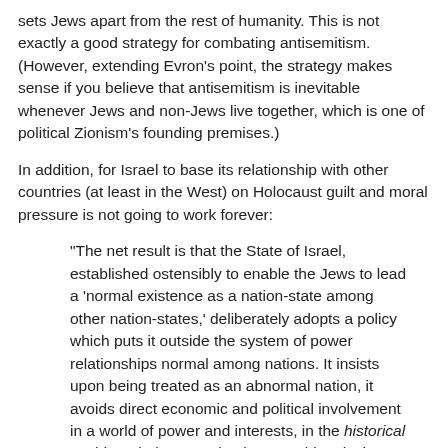sets Jews apart from the rest of humanity. This is not exactly a good strategy for combating antisemitism. (However, extending Evron's point, the strategy makes sense if you believe that antisemitism is inevitable whenever Jews and non-Jews live together, which is one of political Zionism's founding premises.)
In addition, for Israel to base its relationship with other countries (at least in the West) on Holocaust guilt and moral pressure is not going to work forever:
"The net result is that the State of Israel, established ostensibly to enable the Jews to lead a 'normal existence as a nation-state among other nation-states,' deliberately adopts a policy which puts it outside the system of power relationships normal among nations. It insists upon being treated as an abnormal nation, it avoids direct economic and political involvement in a world of power and interests, in the historical world, and tries to maintain a non-historical existence as a sect divorced from the historical